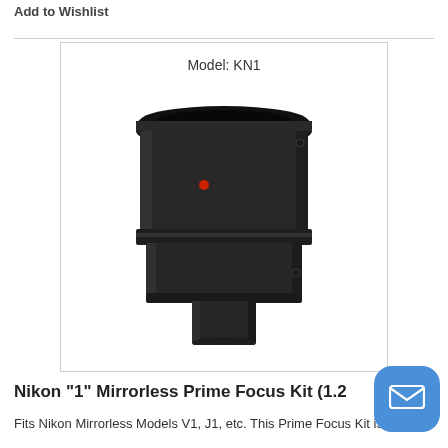Add to Wishlist
[Figure (photo): Black camera telescope adapter/prime focus kit (Model KN1) — cylindrical black anodized metal adapter with T-thread on top and 1.25-inch barrel at bottom, with a red alignment dot visible on the side.]
Model: KN1
Nikon "1" Mirrorless Prime Focus Kit (1.25...
Fits Nikon Mirrorless Models V1, J1, etc. This Prime Focus Kit is suitable